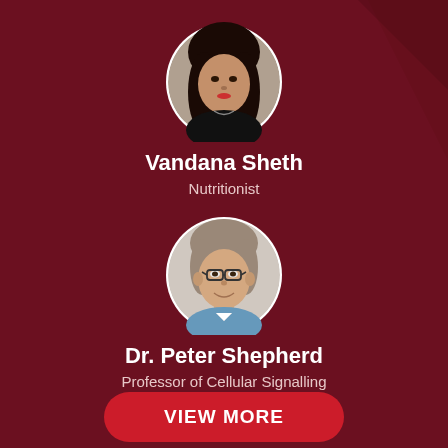[Figure (photo): Circular headshot of Vandana Sheth, a woman with long dark hair]
Vandana Sheth
Nutritionist
[Figure (photo): Circular headshot of Dr. Peter Shepherd, an older man with glasses and light hair]
Dr. Peter Shepherd
Professor of Cellular Signalling
VIEW MORE